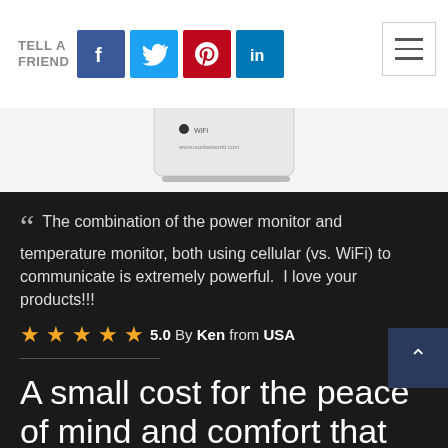TELL A FRIEND
[Figure (photo): iSocket device - a white rectangular power monitor/socket device with small indicator lights and text reading www.isocketworld.com]
“ The combination of the power monitor and temperature monitor, both using cellular (vs. WiFi) to communicate is extremely powerful.  I love your products!!!
5.0 By Ken from USA
A small cost for the peace of mind and comfort that iSock gives you.